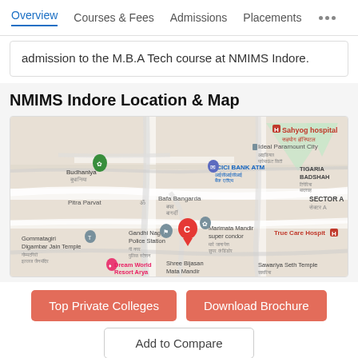Overview | Courses & Fees | Admissions | Placements ...
admission to the M.B.A Tech course at NMIMS Indore.
NMIMS Indore Location & Map
[Figure (map): Google Maps view showing NMIMS Indore campus location marked with a red pin labeled 'C', surrounded by local landmarks including Sahyog hospital, ICICI Bank ATM, Tigaria Badshah, Sector A, Gandhi Nagar Police Station, Marimata Mandir super condor, Budhaniya, Ideal Paramount City, Pitra Parvat, Bafa Bangarda, Gommatagiri Digambar Jain Temple, Dream World Resort Arya, Shree Bijasan Mata Mandir, Sawariya Seth Temple, True Care Hospital]
Top Private Colleges
Download Brochure
Add to Compare